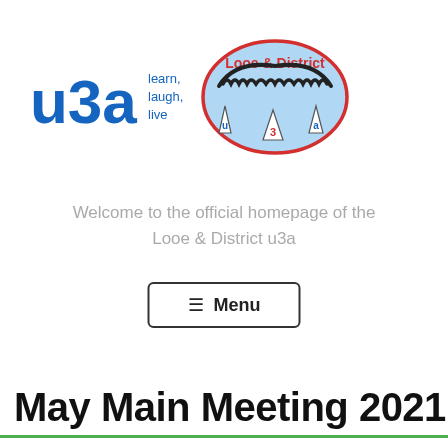[Figure (logo): u3a logo with text 'learn, laugh, live' in blue, alongside Looe & District u3a oval badge with red border and light blue background containing triangular u3a letters]
Welcome to the official homepage of the Looe & District u3a
≡  Menu
May Main Meeting 2021